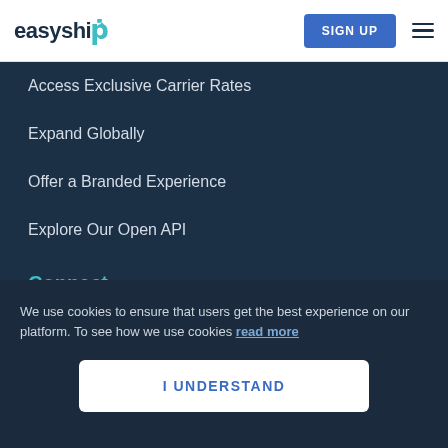easyship | SIGN UP
Access Exclusive Carrier Rates
Expand Globally
Offer a Branded Experience
Explore Our Open API
Connect
USPS Account
We use cookies to ensure that users get the best experience on our platform. To see how we use cookies read more
I UNDERSTAND